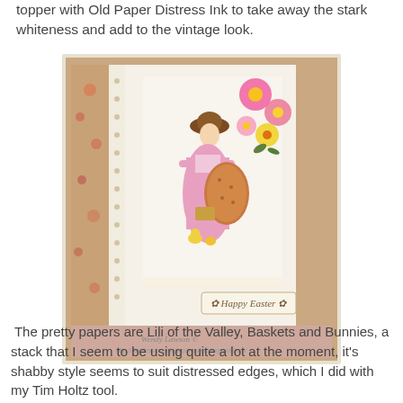topper with Old Paper Distress Ink to take away the stark whiteness and add to the vintage look.
[Figure (photo): A handmade vintage-style Easter card featuring a girl in a pink dress holding a large decorated Easter egg, surrounded by colorful paper flowers (pink, yellow) and floral patterned papers. A 'Happy Easter' sentiment tag is at the bottom. Watermark reads 'Wendy Lawson' and a blog URL.]
The pretty papers are Lili of the Valley, Baskets and Bunnies, a stack that I seem to be using quite a lot at the moment, it's shabby style seems to suit distressed edges, which I did with my Tim Holtz tool.
I've embellished with cream lace, cream satin ribbon, a stamped sentiment, a pink doily, a scattering of pink gems, a